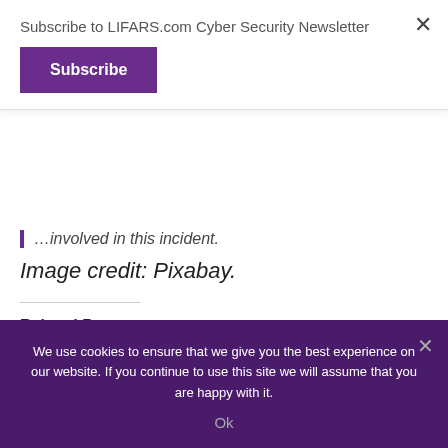Subscribe to LIFARS.com Cyber Security Newsletter
Subscribe
…involved in this incident.
Image credit: Pixabay.
Related Posts
[Figure (photo): Panera Bread exterior sign with blue sky background]
[Figure (photo): Courtyard hotel sign with palm tree and striped background]
We use cookies to ensure that we give you the best experience on our website. If you continue to use this site we will assume that you are happy with it.
Ok